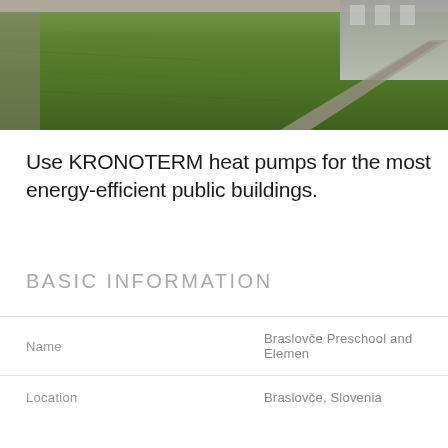[Figure (photo): Aerial or ground-level view of a grass lawn area with paved paths, and a building visible in the background at top right.]
Use KRONOTERM heat pumps for the most energy-efficient public buildings.
BASIC INFORMATION
|  |  |
| --- | --- |
| Name | Braslovče Preschool and Elemen… |
| Location | Braslovče, Slovenia |